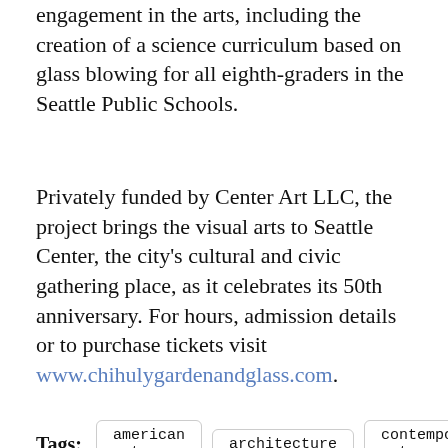engagement in the arts, including the creation of a science curriculum based on glass blowing for all eighth-graders in the Seattle Public Schools.
Privately funded by Center Art LLC, the project brings the visual arts to Seattle Center, the city's cultural and civic gathering place, as it celebrates its 50th anniversary. For hours, admission details or to purchase tickets visit www.chihulygardenandglass.com.
Tags: american art  architecture  contemporary art  design  glass
Share  Tweet  Save  [email]